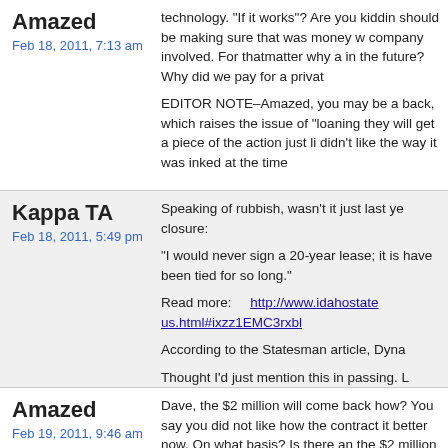Amazed
Feb 18, 2011, 7:13 am
technology. "If it works"? Are you kiddin should be making sure that was money w company involved. For thatmatter why a in the future? Why did we pay for a privat
EDITOR NOTE–Amazed, you may be a back, which raises the issue of "loaning they will get a piece of the action just li didn't like the way it was inked at the time
Kappa TA
Feb 18, 2011, 5:49 pm
Speaking of rubbish, wasn't it just last ye closure:
"I would never sign a 20-year lease; it is have been tied for so long."
Read more: http://www.idahostate us.html#ixzz1EMC3rxbl
According to the Statesman article, Dyna
Thought I'd just mention this in passing. L
Amazed
Feb 19, 2011, 9:46 am
Dave, the $2 million will come back how? You say you did not like how the contract it better now. On what basis? Is there an the $2 million be paid back? I think citizen